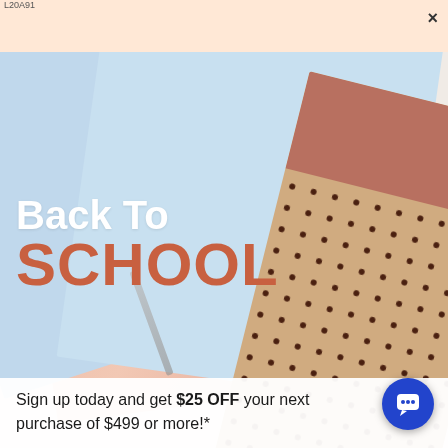L20A91
[Figure (photo): Back to school promotional image showing overlapping pastel-colored notebooks (light blue, peach/salmon, and a tan dotted pattern notebook with terracotta top section) arranged on a light background with a pencil visible]
Back To SCHOOL
Sign up today and get $25 OFF your next purchase of $499 or more!*